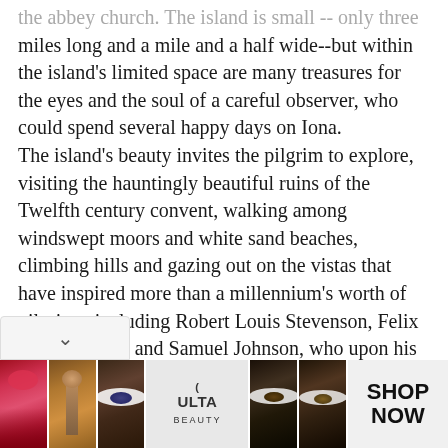the abbey church. The island is small -- only three miles long and a mile and a half wide--but within the island's limited space are many treasures for the eyes and the soul of a careful observer, who could spend several happy days on Iona.
The island's beauty invites the pilgrim to explore, visiting the hauntingly beautiful ruins of the Twelfth century convent, walking among windswept moors and white sand beaches, climbing hills and gazing out on the vistas that have inspired more than a millennium's worth of pilgrims, including Robert Louis Stevenson, Felix Mendelssohn, and Samuel Johnson, who upon his visit to Iona in 1773 wrote, "To abstract the mind from all local emotion would be impossible, if it were endeavored, and would be foolish if it were possible...That man is little to be
[Figure (photo): Advertisement banner for ULTA Beauty showing cosmetic product photos (lipstick, makeup brush, eye makeup) with ULTA logo and SHOP NOW call to action]